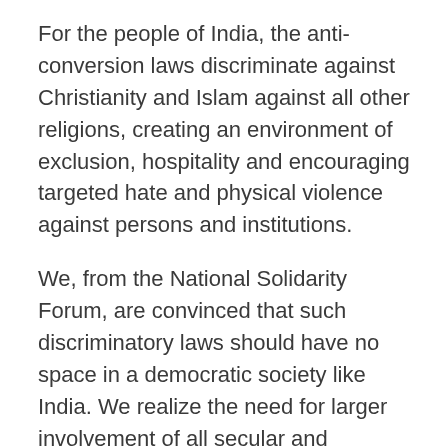For the people of India, the anti-conversion laws discriminate against Christianity and Islam against all other religions, creating an environment of exclusion, hospitality and encouraging targeted hate and physical violence against persons and institutions.
We, from the National Solidarity Forum, are convinced that such discriminatory laws should have no space in a democratic society like India. We realize the need for larger involvement of all secular and democratic people to support the campaign for the withdrawal of such laws. And, therefore, we appeal to all those who respect human rights, dignity, peace, harmony, and justice to endorse this statement against the Anti-Conversion Laws in India.